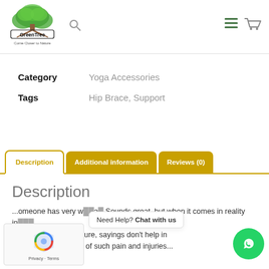[Figure (logo): GreenTree logo with tree graphic and tagline 'Come Closer to Nature']
Category   Yoga Accessories
Tags   Hip Brace, Support
Description | Additional information | Reviews (0)
Description
...omeone has very w...a... Sounds great, but when it comes in reality in... h of any injury or fracture, sayings don't help in much relief. To get rid of such pain and injuries...